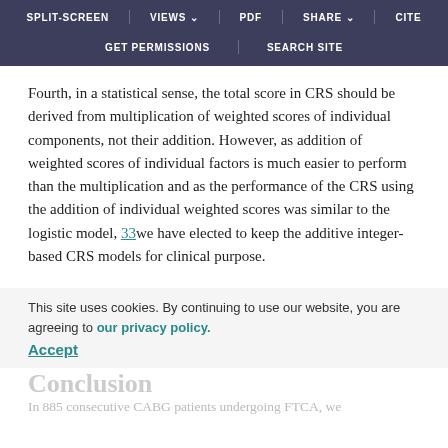SPLIT-SCREEN  VIEWS  PDF  SHARE  CITE  GET PERMISSIONS  SEARCH SITE
Fourth, in a statistical sense, the total score in CRS should be derived from multiplication of weighted scores of individual components, not their addition. However, as addition of weighted scores of individual factors is much easier to perform than the multiplication and as the performance of the CRS using the addition of individual weighted scores was similar to the logistic model, 33 we have elected to keep the additive integer-based CRS models for clinical purpose.
This site uses cookies. By continuing to use our website, you are agreeing to our privacy policy. Accept
Conclusion
In 885 consecutive CABG patients undergoing FTCA, we